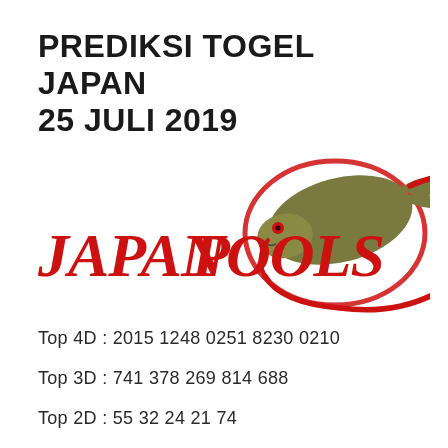PREDIKSI TOGEL JAPAN 25 JULI 2019
[Figure (logo): JapanPools logo with red italic text 'JapanPools' and a stylized fish/dragon in olive green with red outline curling around the text]
Top 4D : 2015 1248 0251 8230 0210
Top 3D : 741 378 269 814 688
Top 2D : 55 32 24 21 74